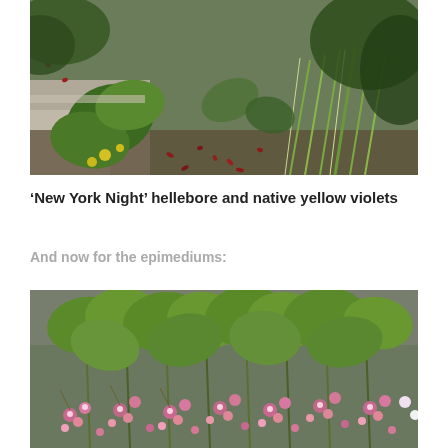[Figure (photo): Outdoor garden photo showing 'New York Night' hellebore and native yellow violets. Ground-level view of plants including large green leaves, small yellow flowers, and reddish fallen petals on stone path.]
‘New York Night’ hellebore and native yellow violets
And now for the epimediums:
[Figure (photo): Outdoor garden photo showing epimediums in bloom. Green heart-shaped leaves on tall stems with pink and white star-shaped flowers in the foreground.]